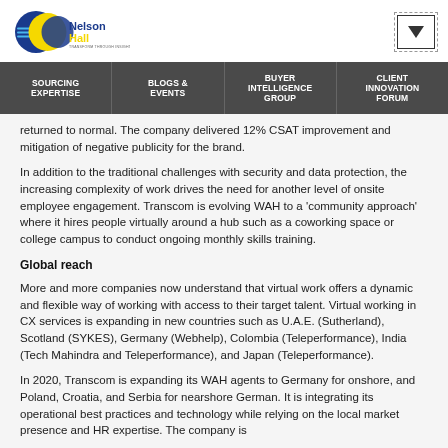[Figure (logo): NelsonHall logo with blue and yellow circular design and tagline 'Transform Through Insight']
SOURCING EXPERTISE | BLOGS & EVENTS | BUYER INTELLIGENCE GROUP | CLIENT INNOVATION FORUM
returned to normal. The company delivered 12% CSAT improvement and mitigation of negative publicity for the brand.
In addition to the traditional challenges with security and data protection, the increasing complexity of work drives the need for another level of onsite employee engagement. Transcom is evolving WAH to a 'community approach' where it hires people virtually around a hub such as a coworking space or college campus to conduct ongoing monthly skills training.
Global reach
More and more companies now understand that virtual work offers a dynamic and flexible way of working with access to their target talent. Virtual working in CX services is expanding in new countries such as U.A.E. (Sutherland), Scotland (SYKES), Germany (Webhelp), Colombia (Teleperformance), India (Tech Mahindra and Teleperformance), and Japan (Teleperformance).
In 2020, Transcom is expanding its WAH agents to Germany for onshore, and Poland, Croatia, and Serbia for nearshore German. It is integrating its operational best practices and technology while relying on the local market presence and HR expertise. The company is